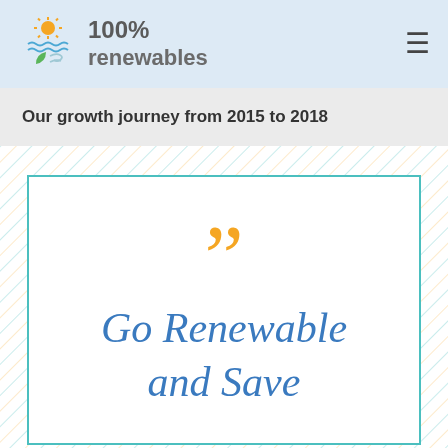100% renewables
Our growth journey from 2015 to 2018
[Figure (illustration): Decorative hatched background with diagonal teal and yellow lines, containing a white bordered card with a closing quotation mark and the text 'Go Renewable and Save' in italic blue font.]
Go Renewable and Save